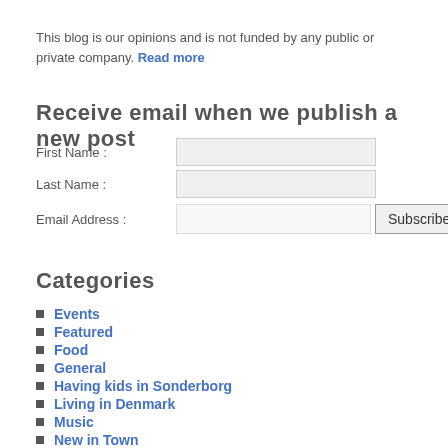This blog is our opinions and is not funded by any public or private company. Read more
Receive email when we publish a new post
| First Name : |  |
| Last Name : |  |
| Email Address : |  | Subscribe! |
Categories
Events
Featured
Food
General
Having kids in Sonderborg
Living in Denmark
Music
New in Town
Others talking about Sønderborg
Outdoors